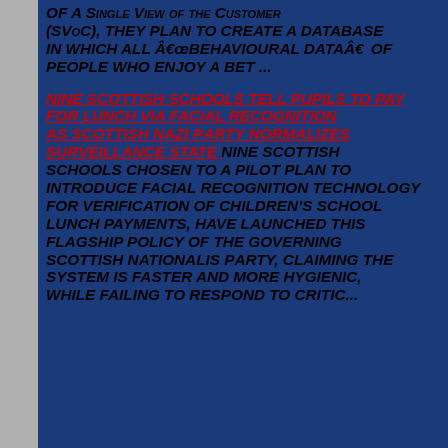OF A SINGLE VIEW OF THE CUSTOMER (SVoC), THEY PLAN TO CREATE A DATABASE IN WHICH ALL â€œBEHAVIOURAL DATAâ€� OF PEOPLE WHO ENJOY A BET ...
NINE SCOTTISH SCHOOLS TELL PUPILS TO PAY FOR LUNCH VIA FACIAL RECOGNITION AS SCOTTISH NAZI PARTY NORMALIZES SURVEILLANCE STATENine Scottish Schools chosen to a pilot plan to introduce facial recognition technology for verification of children’s school lunch payments, have launched this flagship policy of the governing Scottish Nationalis Party, claiming the system is faster and more hygienic, WHILE FAILING TO RESPOND TO CRITIC...